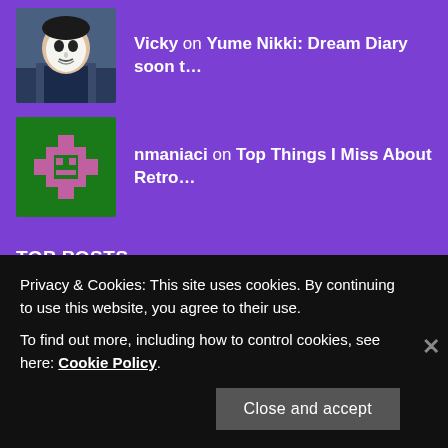Vicky on Yume Nikki: Dream Diary soon t…
nmaniaci on Top Things I Miss About Retro…
TOP POSTS
Looking Back At Medal of Honor: Frontline - An Immersive War FPS
Seven Video Game Boss Music Favourites - Let's
Privacy & Cookies: This site uses cookies. By continuing to use this website, you agree to their use.
To find out more, including how to control cookies, see here: Cookie Policy
Close and accept